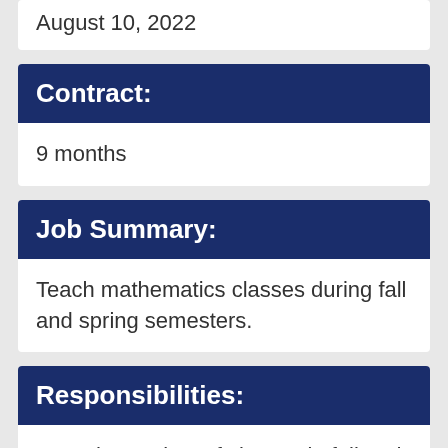August 10, 2022
Contract:
9 months
Job Summary:
Teach mathematics classes during fall and spring semesters.
Responsibilities:
Teach a variety of classes in fall and spring, including but not limited to developmental mathematics courses, corequisite-model and